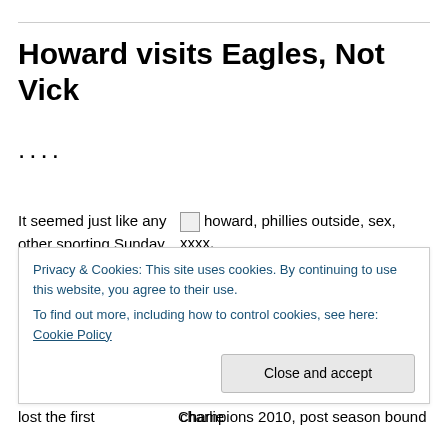Howard visits Eagles, Not Vick
....
It seemed just like any other sporting Sunday in Philadelphia, this one was
[Figure (photo): Small broken image placeholder with alt text: howard, phillies outside, sex, xxxx, Yankees, sexual harassment, catholic, altar boys, priests, nudes, naked, Phillies, MLB, bobby cox, swiffer, sweep, braves suck, iphone, worldseries, MLB, charlie]
Privacy & Cookies: This site uses cookies. By continuing to use this website, you agree to their use.
To find out more, including how to control cookies, see here: Cookie Policy
Close and accept
lost the first
Champions 2010, post season bound